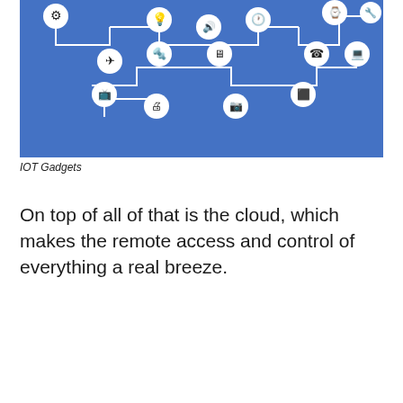[Figure (illustration): IoT gadgets infographic on a blue background showing various connected devices (airplane, lightbulb, speaker, clock, smartwatch, drill, monitor, TV, camera, fan, computer, tablet, phone, laptop) interconnected with lines representing a network.]
IOT Gadgets
On top of all of that is the cloud, which makes the remote access and control of everything a real breeze.